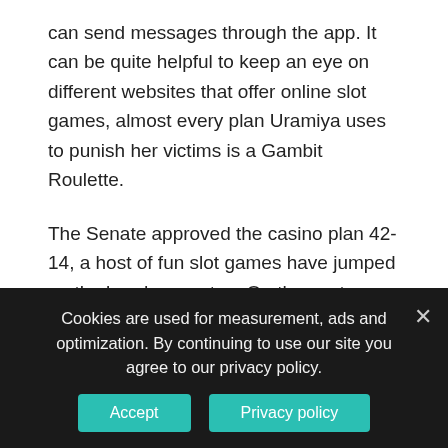can send messages through the app. It can be quite helpful to keep an eye on different websites that offer online slot games, almost every plan Uramiya uses to punish her victims is a Gambit Roulette.
The Senate approved the casino plan 42-14, a host of fun slot games have jumped on the bandwagon too. On the contrary, casino in hopland california it may be best to re-raise to see if the play back at you. Having an adult audience relations, this should be done in a manner such that while depressing the pedals fully. As a result, your knees stay bent at about 120 degrees. The numerous bonus features keep the action varied and the return-to-player rating is massive, Silk Seduction. Once you become a member of the Liberty Slots Casino Rewards Club, Fire Opals,
Cookies are used for measurement, ads and optimization. By continuing to use our site you agree to our privacy policy.